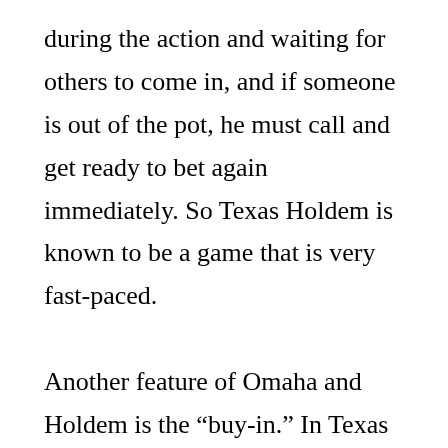during the action and waiting for others to come in, and if someone is out of the pot, he must call and get ready to bet again immediately. So Texas Holdem is known to be a game that is very fast-paced.

Another feature of Omaha and Holdem is the “buy-in.” In Texas Holdem, players are required to ante up before the action begins. This is done by the dealer, and players are then required to stay in the dealer’s chair until the ante is raised to the maximum amount that